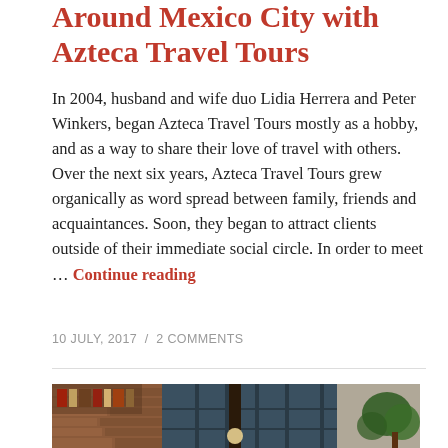Around Mexico City with Azteca Travel Tours
In 2004, husband and wife duo Lidia Herrera and Peter Winkers, began Azteca Travel Tours mostly as a hobby, and as a way to share their love of travel with others. Over the next six years, Azteca Travel Tours grew organically as word spread between family, friends and acquaintances. Soon, they began to attract clients outside of their immediate social circle. In order to meet … Continue reading
10 JULY, 2017 / 2 COMMENTS
[Figure (photo): Interior courtyard or hallway photo showing brick walls, glass-paned doors/windows, a tall dark lamp post, and green plants. Warm earthy tones.]